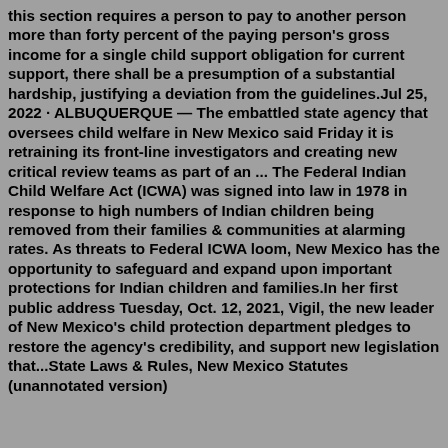this section requires a person to pay to another person more than forty percent of the paying person's gross income for a single child support obligation for current support, there shall be a presumption of a substantial hardship, justifying a deviation from the guidelines.Jul 25, 2022 · ALBUQUERQUE — The embattled state agency that oversees child welfare in New Mexico said Friday it is retraining its front-line investigators and creating new critical review teams as part of an ... The Federal Indian Child Welfare Act (ICWA) was signed into law in 1978 in response to high numbers of Indian children being removed from their families & communities at alarming rates. As threats to Federal ICWA loom, New Mexico has the opportunity to safeguard and expand upon important protections for Indian children and families.In her first public address Tuesday, Oct. 12, 2021, Vigil, the new leader of New Mexico's child protection department pledges to restore the agency's credibility, and support new legislation that...State Laws & Rules, New Mexico Statutes (unannotated version)